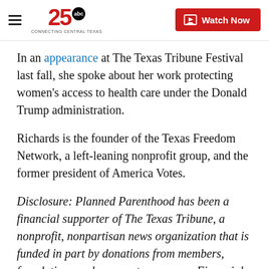25 ABC — Watch Now
In an appearance at The Texas Tribune Festival last fall, she spoke about her work protecting women's access to health care under the Donald Trump administration.
Richards is the founder of the Texas Freedom Network, a left-leaning nonprofit group, and the former president of America Votes.
Disclosure: Planned Parenthood has been a financial supporter of The Texas Tribune, a nonprofit, nonpartisan news organization that is funded in part by donations from members, foundations and corporate sponsors. Financial supporters play no role in the Tribune's journalism. Find a complete list of